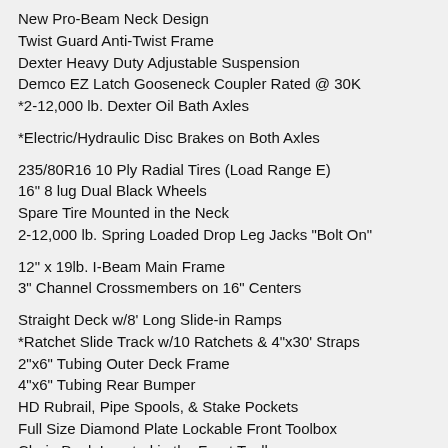New Pro-Beam Neck Design
Twist Guard Anti-Twist Frame
Dexter Heavy Duty Adjustable Suspension
Demco EZ Latch Gooseneck Coupler Rated @ 30K
*2-12,000 lb. Dexter Oil Bath Axles
*Electric/Hydraulic Disc Brakes on Both Axles
235/80R16 10 Ply Radial Tires (Load Range E)
16" 8 lug Dual Black Wheels
Spare Tire Mounted in the Neck
2-12,000 lb. Spring Loaded Drop Leg Jacks "Bolt On"
12" x 19lb. I-Beam Main Frame
3" Channel Crossmembers on 16" Centers
Straight Deck w/8' Long Slide-in Ramps
*Ratchet Slide Track w/10 Ratchets & 4"x30' Straps
2"x6" Tubing Outer Deck Frame
4"x6" Tubing Rear Bumper
HD Rubrail, Pipe Spools, & Stake Pockets
Full Size Diamond Plate Lockable Front Toolbox
Chain Deck Located in the Front Toolbox